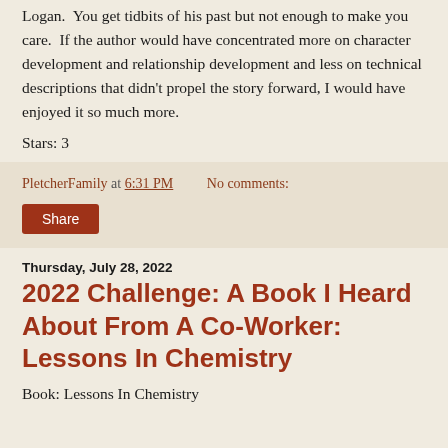Logan.  You get tidbits of his past but not enough to make you care.  If the author would have concentrated more on character development and relationship development and less on technical descriptions that didn't propel the story forward, I would have enjoyed it so much more.
Stars: 3
PletcherFamily at 6:31 PM   No comments:
Thursday, July 28, 2022
2022 Challenge: A Book I Heard About From A Co-Worker: Lessons In Chemistry
Book: Lessons In Chemistry